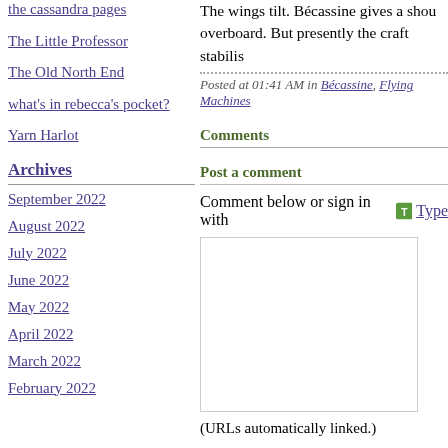the cassandra pages
The Little Professor
The Old North End
what's in rebecca's pocket?
Yarn Harlot
Archives
September 2022
August 2022
July 2022
June 2022
May 2022
April 2022
March 2022
February 2022
The wings tilt. Bécassine gives a shou... overboard. But presently the craft stabilis...
Posted at 01:41 AM in Bécassine, Flying Machines
Comments
Post a comment
Comment below or sign in with Type
(URLs automatically linked.)
Your Information
(* required)